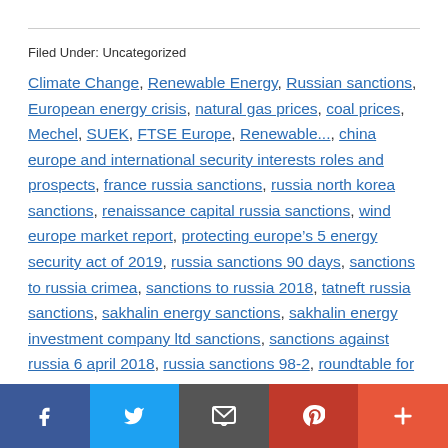Filed Under: Uncategorized
Climate Change, Renewable Energy, Russian sanctions, European energy crisis, natural gas prices, coal prices, Mechel, SUEK, FTSE Europe, Renewable..., china europe and international security interests roles and prospects, france russia sanctions, russia north korea sanctions, renaissance capital russia sanctions, wind europe market report, protecting europe’s 5 energy security act of 2019, russia sanctions 90 days, sanctions to russia crimea, sanctions to russia 2018, tatneft russia sanctions, sakhalin energy sanctions, sakhalin energy investment company ltd sanctions, sanctions against russia 6 april 2018, russia sanctions 98-2, roundtable for